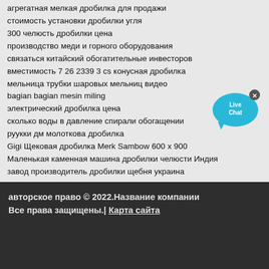агрегатная мелкая дробилка для продажи
стоимость установки дробилки угля
300 челюсть дробилки цена
производство меди и горного оборудования
связаться китайский обогатительные инвесторов
вместимость 7 26 2339 3 cs конусная дробилка
мельница трубки шаровых мельниц видео
bagian bagian mesin miling
электрический дробилка цена
сколько воды в давление спирали обогащении
руукки дм молоткова дробилка
Gigi Щековая дробилка Merk Sambow 600 x 900
Маленькая каменная машина дробилки челюсти Индия
завод производитель дробилки щебня украина
[Figure (illustration): Live Chat bubble icon in cyan/blue color with 'Live Chat' text and X close button]
авторское право © 2022.Название компании Все права защищены.| Карта сайта
[Figure (illustration): Social media icons: Twitter, Facebook, YouTube, Google+ in pink/rose circular buttons]